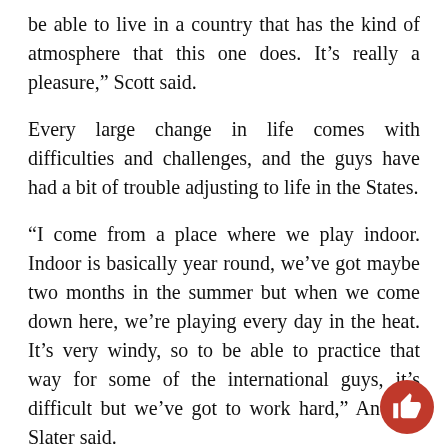be able to live in a country that has the kind of atmosphere that this one does. It’s really a pleasure,” Scott said.
Every large change in life comes with difficulties and challenges, and the guys have had a bit of trouble adjusting to life in the States.
“I come from a place where we play indoor. Indoor is basically year round, we’ve got maybe two months in the summer but when we come down here, we’re playing every day in the heat. It’s very windy, so to be able to practice that way for some of the international guys, it’s difficult but we’ve got to work hard,” Andrew Slater said.
Scott has had a bit more trouble adjusting to life at Cal Lutheran, since he is over 6,000 miles away from his home in New Zealand.